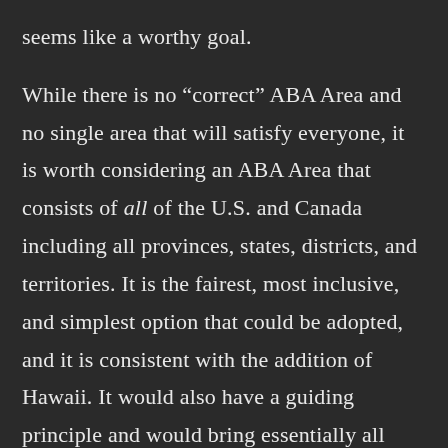seems like a worthy goal.

While there is no “correct” ABA Area and no single area that will satisfy everyone, it is worth considering an ABA Area that consists of all of the U.S. and Canada including all provinces, states, districts, and territories. It is the fairest, most inclusive, and simplest option that could be adopted, and it is consistent with the addition of Hawaii. It would also have a guiding principle and would bring essentially all Americans and Canadians—and the full avian